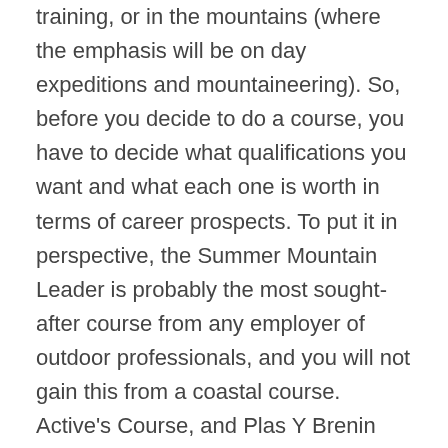training, or in the mountains (where the emphasis will be on day expeditions and mountaineering). So, before you decide to do a course, you have to decide what qualifications you want and what each one is worth in terms of career prospects. To put it in perspective, the Summer Mountain Leader is probably the most sought-after course from any employer of outdoor professionals, and you will not gain this from a coastal course. Active's Course, and Plas Y Brenin are the two main providers of Outdoor Instructor Training Courses offering this as part of the package. The total cost of the courses can range anywhere from five to over ten thousand pounds, depending on the duration of the course, the qualifications gained, and the profit margins of the company. Despite this sounding like a lot, in relation